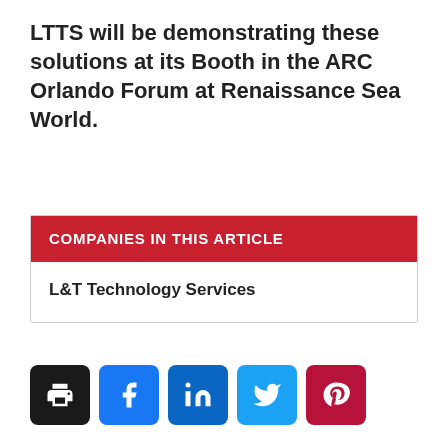LTTS will be demonstrating these solutions at its Booth in the ARC Orlando Forum at Renaissance Sea World.
COMPANIES IN THIS ARTICLE
L&T Technology Services
[Figure (infographic): Row of five social sharing buttons: print (black), Facebook (blue), LinkedIn (dark blue), Twitter (light blue), Pinterest (dark red)]
You're Invited
Don't miss your weekly dose of automation intelligence and news with